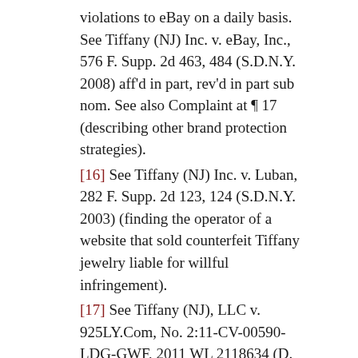violations to eBay on a daily basis. See Tiffany (NJ) Inc. v. eBay, Inc., 576 F. Supp. 2d 463, 484 (S.D.N.Y. 2008) aff'd in part, rev'd in part sub nom. See also Complaint at ¶ 17 (describing other brand protection strategies).
[16] See Tiffany (NJ) Inc. v. Luban, 282 F. Supp. 2d 123, 124 (S.D.N.Y. 2003) (finding the operator of a website that sold counterfeit Tiffany jewelry liable for willful infringement).
[17] See Tiffany (NJ), LLC v. 925LY.Com, No. 2:11-CV-00590-LDG-GWF, 2011 WL 2118634 (D. Nev. May 25, 2011) (issuing a preliminary injunction in favor of Tiffany).
[18] See Two Pesos, Inc. v. Taco Cabana...